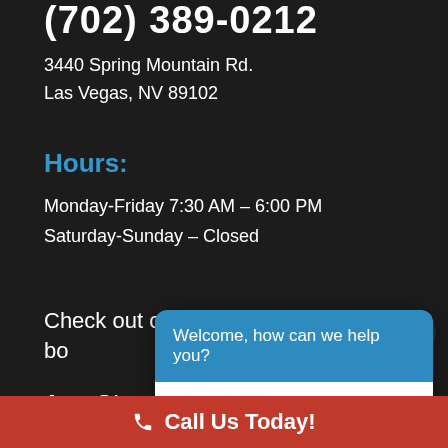(702) 389-0212
3440 Spring Mountain Rd.
Las Vegas, NV 89102
Hours:
Monday-Friday 7:30 AM – 6:00 PM
Saturday-Sunday – Closed
Check out our new Mobile App for bo...
[Figure (screenshot): Chat widget overlay with blue header reading 'Welcome, how can we help you?' and white body with placeholder text 'Write your message...' and a send button]
App Store
Call Us Today!